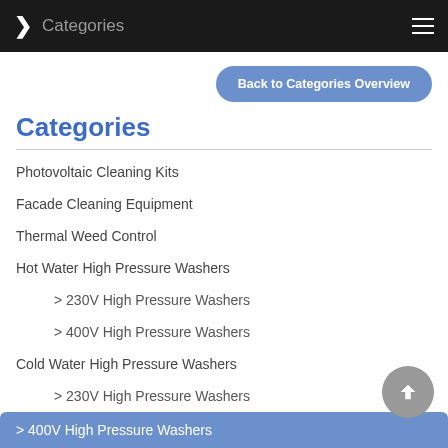> Categories
Back to Categories Overview
Categories
Photovoltaic Cleaning Kits
Facade Cleaning Equipment
Thermal Weed Control
Hot Water High Pressure Washers
> 230V High Pressure Washers
> 400V High Pressure Washers
Cold Water High Pressure Washers
> 230V High Pressure Washers
> 400V High Pressure Washers